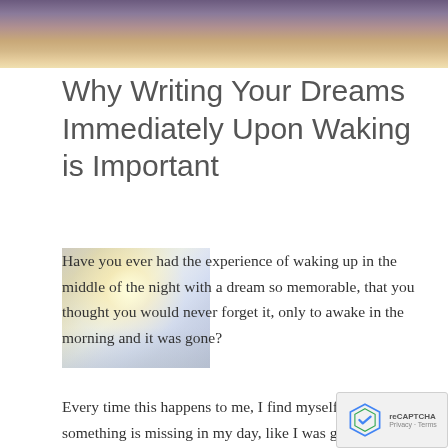[Figure (photo): Misty landscape at dawn with soft purple and golden sky tones — header image]
Why Writing Your Dreams Immediately Upon Waking is Important
[Figure (photo): Misty lake or water scene at sunrise with glowing light and fog — floated left beside body text]
Have you ever had the experience of waking up in the middle of the night with a dream so memorable, that you thought you would never forget it, only to awake in the morning and it was gone?
Every time this happens to me, I find myself feeling something is missing in my day, like I was given something important but forgot what it was, or lost it.